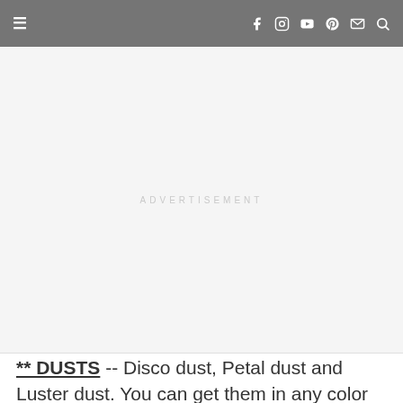≡  [navigation icons: Facebook, Instagram, YouTube, Pinterest, Email, Search]
[Figure (other): Advertisement placeholder area with light gray background and 'ADVERTISEMENT' text in light gray letterspaced capitals]
** DUSTS -- Disco dust, Petal dust and Luster dust. You can get them in any color and any quantity. And it doesn't matter how many they already have. They will always be happy for